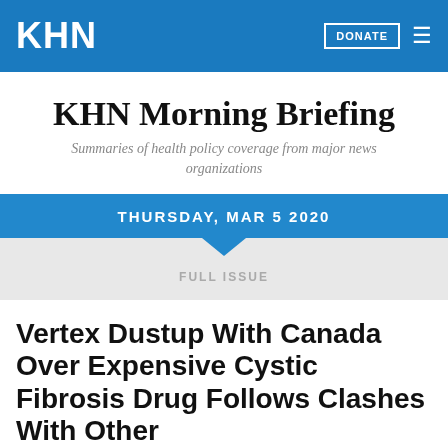KHN
KHN Morning Briefing
Summaries of health policy coverage from major news organizations
THURSDAY, MAR 5 2020
FULL ISSUE
Vertex Dustup With Canada Over Expensive Cystic Fibrosis Drug Follows Clashes With Other